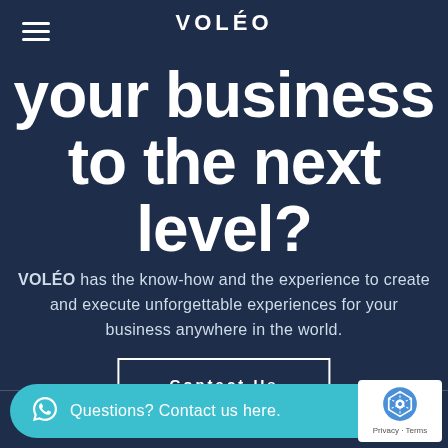VOLÉO
your business to the next level?
VOLÉO has the know-how and the experience to create and execute unforgettable experiences for your business anywhere in the world.
Contact Us
Questions? Contact us here.